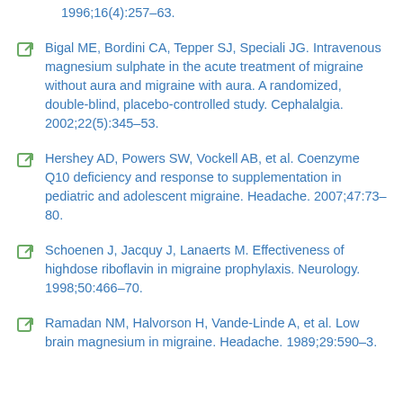1996;16(4):257–63.
Bigal ME, Bordini CA, Tepper SJ, Speciali JG. Intravenous magnesium sulphate in the acute treatment of migraine without aura and migraine with aura. A randomized, double-blind, placebo-controlled study. Cephalalgia. 2002;22(5):345–53.
Hershey AD, Powers SW, Vockell AB, et al. Coenzyme Q10 deficiency and response to supplementation in pediatric and adolescent migraine. Headache. 2007;47:73–80.
Schoenen J, Jacquy J, Lanaerts M. Effectiveness of highdose riboflavin in migraine prophylaxis. Neurology. 1998;50:466–70.
Ramadan NM, Halvorson H, Vande-Linde A, et al. Low brain magnesium in migraine. Headache. 1989;29:590–3.